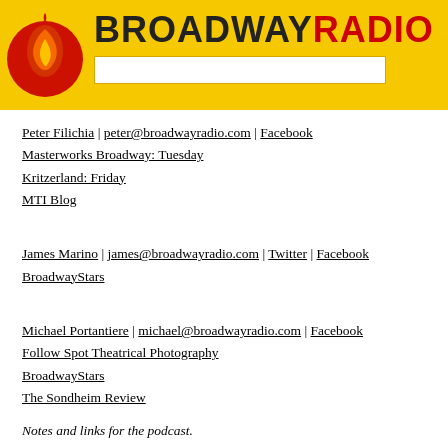[Figure (logo): BroadwayRadio logo with red circle/flame icon and bold black/red text 'BROADWAYRADIO' on yellow background]
Peter Filichia | peter@broadwayradio.com | Facebook
Masterworks Broadway: Tuesday
Kritzerland: Friday
MTI Blog
James Marino | james@broadwayradio.com | Twitter | Facebook
BroadwayStars
Michael Portantiere | michael@broadwayradio.com | Facebook
Follow Spot Theatrical Photography
BroadwayStars
The Sondheim Review
Notes and links for the podcast.
Guest: Jeff Bowen
Jeff on Twitter
Jeff on Facebook